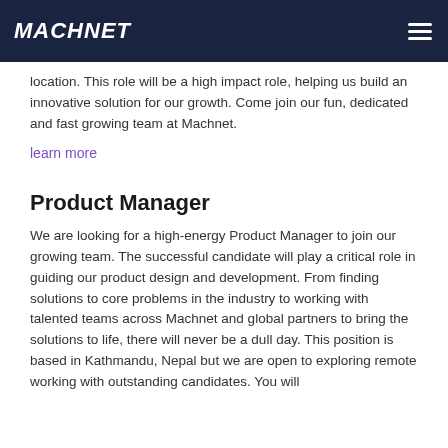MACHNET
location. This role will be a high impact role, helping us build an innovative solution for our growth. Come join our fun, dedicated and fast growing team at Machnet.
learn more
Product Manager
We are looking for a high-energy Product Manager to join our growing team. The successful candidate will play a critical role in guiding our product design and development. From finding solutions to core problems in the industry to working with talented teams across Machnet and global partners to bring the solutions to life, there will never be a dull day. This position is based in Kathmandu, Nepal but we are open to exploring remote working with outstanding candidates. You will